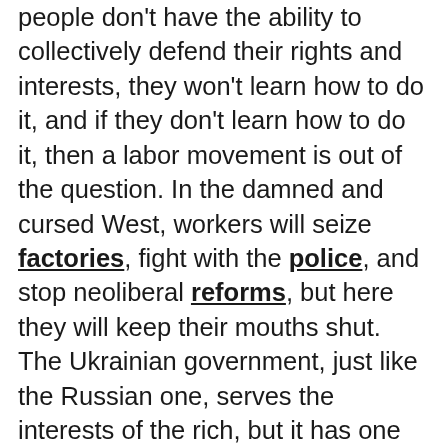people don't have the ability to collectively defend their rights and interests, they won't learn how to do it, and if they don't learn how to do it, then a labor movement is out of the question. In the damned and cursed West, workers will seize factories, fight with the police, and stop neoliberal reforms, but here they will keep their mouths shut. The Ukrainian government, just like the Russian one, serves the interests of the rich, but it has one very important distinction—it does not have the means to suppress civil society that the Russian government has. There, various oligarchic groups replace one another and thus are deprived of the opportunity to establish themselves permanently and crush anything that gets in their way. And more importantly, if any of these groups burrows in and is unwilling to listen to the people, the Ukrainians tear it down, as they did